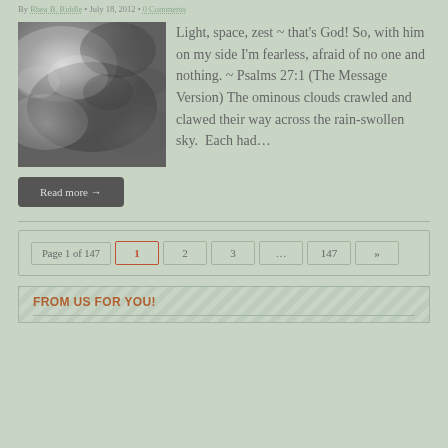By Rhea B. Riddle • July 18, 2012 • 0 Comments
[Figure (photo): Black and white photograph of ominous storm clouds]
Light, space, zest ~ that's God! So, with him on my side I'm fearless, afraid of no one and nothing. ~ Psalms 27:1 (The Message Version) The ominous clouds crawled and clawed their way across the rain-swollen sky.  Each had…
Read more →
Page 1 of 147  1  2  3  ...  147  »
FROM US FOR YOU!